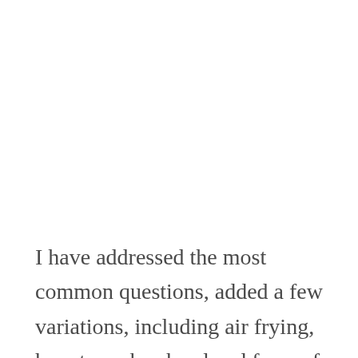I have addressed the most common questions, added a few variations, including air frying, how to make ahead and freeze for later, and ways to substitute ingredients for keto, gluten free, and vegan options.